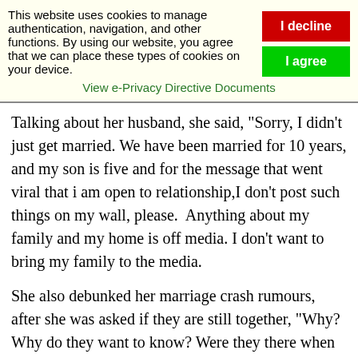This website uses cookies to manage authentication, navigation, and other functions. By using our website, you agree that we can place these types of cookies on your device.
View e-Privacy Directive Documents
Talking about her husband, she said, "Sorry, I didn't just get married. We have been married for 10 years, and my son is five and for the message that went viral that i am open to relationship,I don't post such things on my wall, please. Anything about my family and my home is off media. I don't want to bring my family to the media.
She also debunked her marriage crash rumours, after she was asked if they are still together, "Why? Why do they want to know? Were they there when he 'toasted' me? Were they there when we got